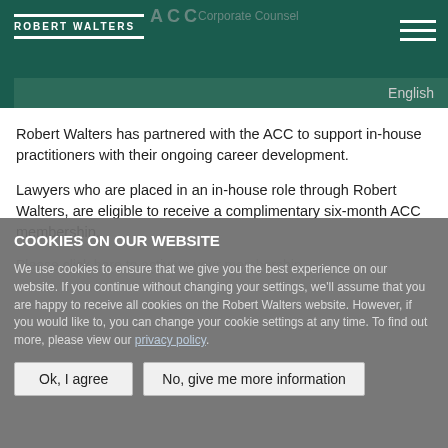[Figure (logo): ACC Corporate Counsel and Robert Walters logos on dark green header with hamburger menu and English language selector]
Robert Walters has partnered with the ACC to support in-house practitioners with their ongoing career development.
Lawyers who are placed in an in-house role through Robert Walters, are eligible to receive a complimentary six-month ACC membership.
COOKIES ON OUR WEBSITE
We use cookies to ensure that we give you the best experience on our website. If you continue without changing your settings, we'll assume that you are happy to receive all cookies on the Robert Walters website. However, if you would like to, you can change your cookie settings at any time. To find out more, please view our privacy policy.